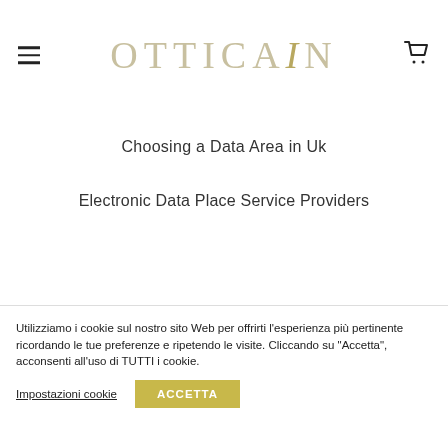OTTICAIN
Choosing a Data Area in Uk
Electronic Data Place Service Providers
Utilizziamo i cookie sul nostro sito Web per offrirti l'esperienza più pertinente ricordando le tue preferenze e ripetendo le visite. Cliccando su "Accetta", acconsenti all'uso di TUTTI i cookie.
Impostazioni cookie
ACCETTA